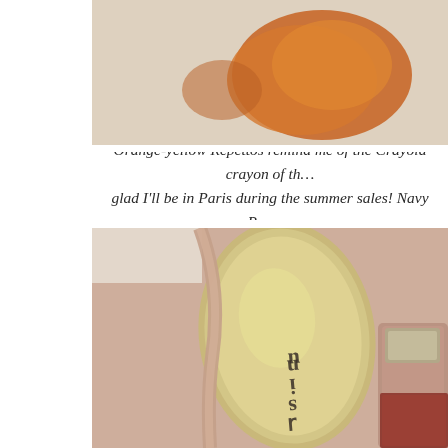[Figure (photo): Top portion of image showing orange-brown shoes on a light textured surface, partially cropped]
Orange-yellow Repettos remind me of the Crayola crayon of th… glad I'll be in Paris during the summer sales! Navy Repe…
[Figure (photo): Close-up photo of the inside sole of a Repetto ballet flat shoe showing the brand name printed upside down on a gold/silver insole, with pink/nude leather straps visible, and another shoe partially visible on the right]